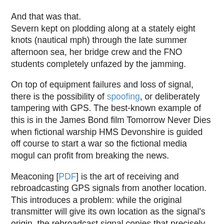And that was that.
Severn kept on plodding along at a stately eight knots (nautical mph) through the late summer afternoon sea, her bridge crew and the FNO students completely unfazed by the jamming.
On top of equipment failures and loss of signal, there is the possibility of spoofing, or deliberately tampering with GPS. The best-known example of this is in the James Bond film Tomorrow Never Dies when fictional warship HMS Devonshire is guided off course to start a war so the fictional media mogul can profit from breaking the news.
Meaconing [PDF] is the art of receiving and rebroadcasting GPS signals from another location.
This introduces a problem: while the original transmitter will give its own location as the signal's origin, the rebroadcast signal copies that precisely – meaning receivers picking up the meaconed signal pick up a position error.
Even with encrypted GPS for military applications, in some cases repeating the raw signal can generate the same